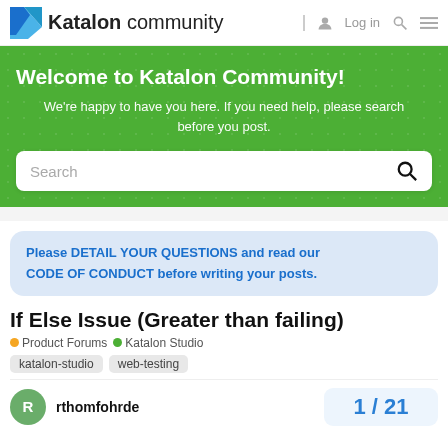Katalon community | Log in | Search | Menu
Welcome to Katalon Community!
We're happy to have you here. If you need help, please search before you post.
Search
Please DETAIL YOUR QUESTIONS and read our CODE OF CONDUCT before writing your posts.
If Else Issue (Greater than failing)
Product Forums  Katalon Studio  katalon-studio  web-testing
rthomfohrde  1 / 21